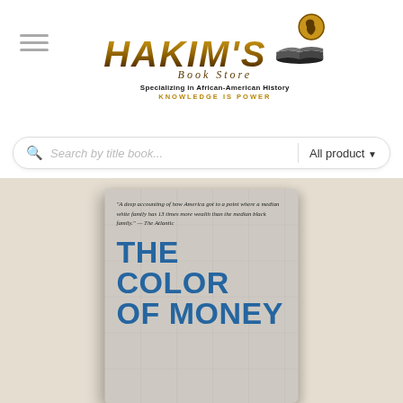[Figure (logo): Hakim's Book Store logo with stylized gold italic text 'HAKIM'S', Africa globe icon, open book icon, 'Book Store' subtitle, 'Specializing in African-American History' tagline, and 'KNOWLEDGE IS POWER' slogan]
Search by title book...
All product
[Figure (photo): Book cover of 'The Color of Money' showing large blue bold title text on a gray textured background, with a quote from The Atlantic at the top reading: 'A deep accounting of how America got to a point where a median white family has 13 times more wealth than the median black family.' — The Atlantic]